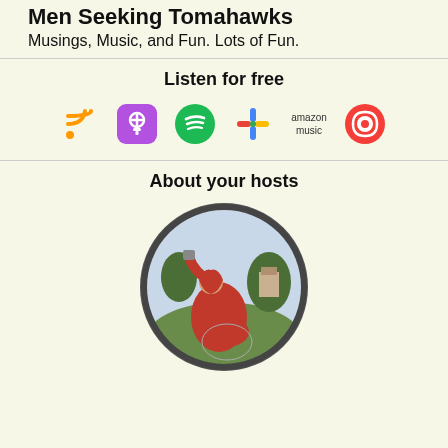Men Seeking Tomahawks
Musings, Music, and Fun. Lots of Fun.
Listen for free
[Figure (infographic): Row of podcast platform icons: RSS feed (orange), Apple Podcasts (purple), Spotify (green), Google Podcasts (colorful dots), Amazon Music (text logo), Pocket Casts (red)]
About your hosts
[Figure (photo): Circular host profile image showing a classical painting of a figure in red robes drinking from a vessel, seated on a globe-like object in a landscape setting]